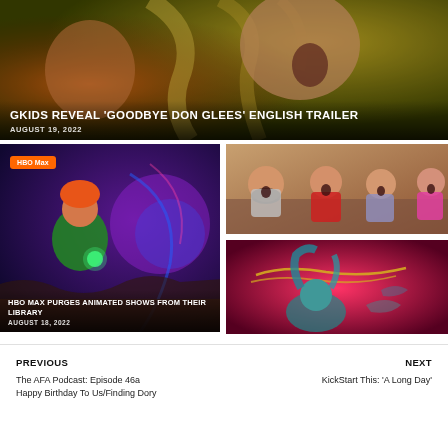[Figure (photo): Anime illustration showing characters, top card for 'GKIDS Reveal Goodbye Don Glees English Trailer']
GKIDS REVEAL 'GOODBYE DON GLEES' ENGLISH TRAILER
AUGUST 19, 2022
[Figure (photo): Animation still showing a character with orange hair and green jacket in a colorful fantastical world, with HBO Max badge, for 'HBO Max Purges Animated Shows From Their Library']
[Figure (photo): Animation still showing four cartoon characters looking shocked]
[Figure (photo): Animated artwork with red/pink background showing stylized characters]
HBO MAX PURGES ANIMATED SHOWS FROM THEIR LIBRARY
AUGUST 18, 2022
PREVIOUS
The AFA Podcast: Episode 46a Happy Birthday To Us/Finding Dory
NEXT
KickStart This: 'A Long Day'